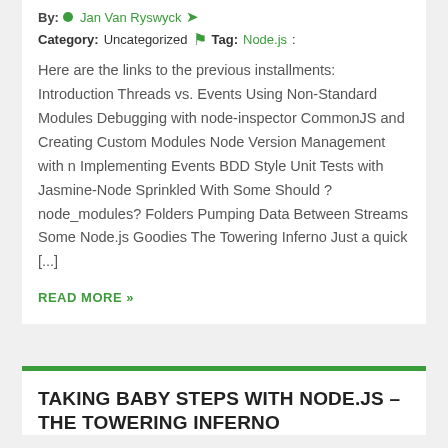By: Jan Van Ryswyck
Category:Uncategorized   Tag: Node.js:
Here are the links to the previous installments: Introduction Threads vs. Events Using Non-Standard Modules Debugging with node-inspector CommonJS and Creating Custom Modules Node Version Management with n Implementing Events BDD Style Unit Tests with Jasmine-Node Sprinkled With Some Should ?node_modules? Folders Pumping Data Between Streams Some Node.js Goodies The Towering Inferno Just a quick [...]
READ MORE »
TAKING BABY STEPS WITH NODE.JS – THE TOWERING INFERNO